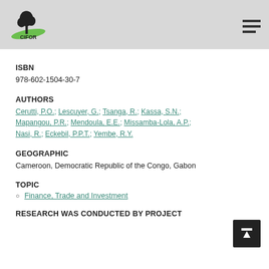[Figure (logo): CIFOR logo with tree illustration and green swoosh, plus hamburger menu icon]
ISBN
978-602-1504-30-7
AUTHORS
Cerutti, P.O.; Lescuyer, G.; Tsanga, R.; Kassa, S.N.; Mapangou, P.R.; Mendoula, E.E.; Missamba-Lola, A.P.; Nasi, R.; Eckebil, P.P.T.; Yembe, R.Y.
GEOGRAPHIC
Cameroon, Democratic Republic of the Congo, Gabon
TOPIC
Finance, Trade and Investment
RESEARCH WAS CONDUCTED BY PROJECT